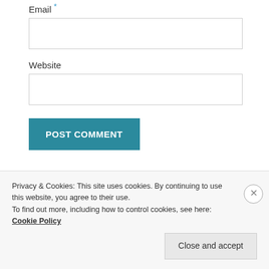Email *
Website
POST COMMENT
Notify me of new comments via email.
Privacy & Cookies: This site uses cookies. By continuing to use this website, you agree to their use. To find out more, including how to control cookies, see here: Cookie Policy
Close and accept